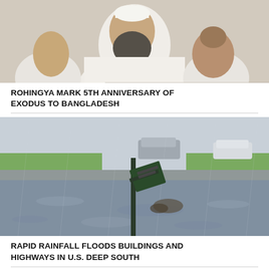[Figure (photo): Partial view of men in white clothing, top of page, Rohingya story image]
ROHINGYA MARK 5TH ANNIVERSARY OF EXODUS TO BANGLADESH
[Figure (photo): Flooded street with mailbox post submerged, cars in background, rain]
RAPID RAINFALL FLOODS BUILDINGS AND HIGHWAYS IN U.S. DEEP SOUTH
[Figure (photo): Aerial view of Fukushima nuclear power plant with storage tanks]